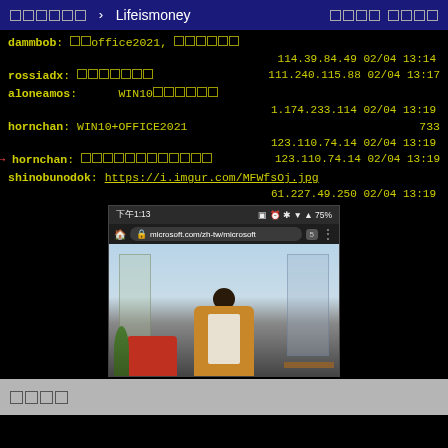□□□□□□ › Lifeismoney □□□□ □□□□
dammbob: □□office2021, □□□□□□
114.39.84.49 02/04 13:14
rossiadx: □□□□□□□ 111.240.115.88 02/04 13:17
aloneamos: WIN10□□□□□□
1.174.233.114 02/04 13:19
hornchan: WIN10+OFFICE2021 733
123.110.74.14 02/04 13:19
hornchan: □□□□□□□□□□□□ 123.110.74.14 02/04 13:19
shinobunodok: https://i.imgur.com/MFWfsOj.jpg
61.227.49.250 02/04 13:19
[Figure (screenshot): Mobile browser screenshot showing microsoft.com/zh-tw/microsoft with a photo of a person in a tan blazer writing at a desk, time 下午1:13, battery 75%]
□□□□